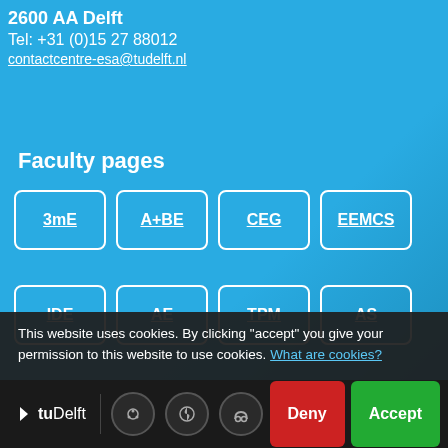2600 AA Delft
Tel: +31 (0)15 27 88012
contactcentre-esa@tudelft.nl
Faculty pages
3mE
A+BE
CEG
EEMCS
IDE
AE
TPM
AS
This website uses cookies. By clicking "accept" you give your permission to this website to use cookies. What are cookies?
TUDelft | Deny | Accept